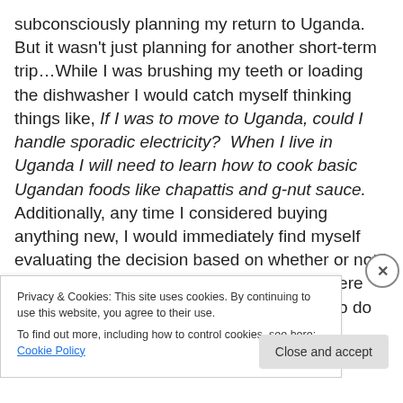subconsciously planning my return to Uganda.  But it wasn't just planning for another short-term trip…While I was brushing my teeth or loading the dishwasher I would catch myself thinking things like, If I was to move to Uganda, could I handle sporadic electricity?  When I live in Uganda I will need to learn how to cook basic Ugandan foods like chapattis and g-nut sauce.   Additionally, any time I considered buying anything new, I would immediately find myself evaluating the decision based on whether or not I would take it to Uganda with me.  Where were those thoughts coming from?  What was I to do with
Privacy & Cookies: This site uses cookies. By continuing to use this website, you agree to their use.
To find out more, including how to control cookies, see here: Cookie Policy